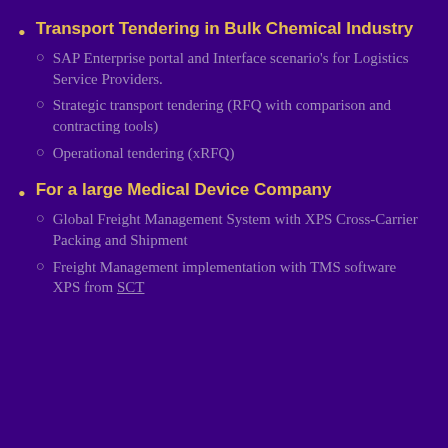Transport Tendering in Bulk Chemical Industry
SAP Enterprise portal and Interface scenario's for Logistics Service Providers.
Strategic transport tendering (RFQ with comparison and contracting tools)
Operational tendering (xRFQ)
For a large Medical Device Company
Global Freight Management System with XPS Cross-Carrier Packing and Shipment
Freight Management implementation with TMS software XPS from SCT